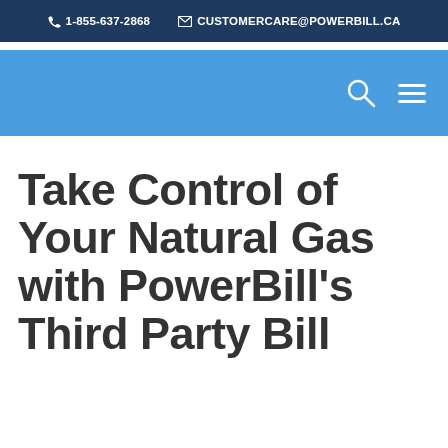1-855-637-2868  CUSTOMERCARE@POWERBILL.CA
[Figure (screenshot): Blue navigation bar with search icon and hamburger menu on the right]
Take Control of Your Natural Gas with PowerBill's Third Party Bill